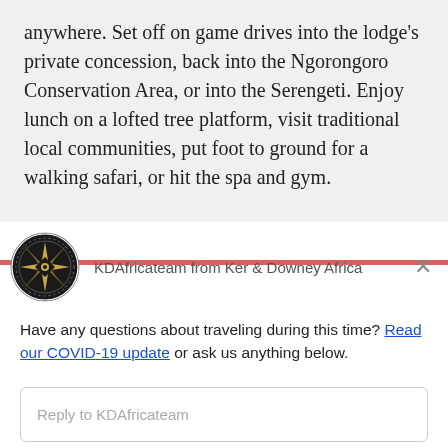anywhere. Set off on game drives into the lodge's private concession, back into the Ngorongoro Conservation Area, or into the Serengeti. Enjoy lunch on a lofted tree platform, visit traditional local communities, put foot to ground for a walking safari, or hit the spa and gym.
[Figure (logo): Ker & Downey Africa compass star logo — circular black badge with a gold compass rose and decorative dotted ring border]
KDAfricateam from Ker & Downey Africa
Have any questions about traveling during this time? Read our COVID-19 update or ask us anything below.
Reply to KDAfricateam